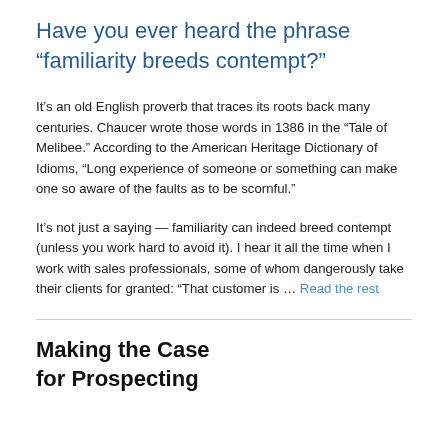Have you ever heard the phrase “familiarity breeds contempt?”
It’s an old English proverb that traces its roots back many centuries. Chaucer wrote those words in 1386 in the “Tale of Melibee.” According to the American Heritage Dictionary of Idioms, “Long experience of someone or something can make one so aware of the faults as to be scornful.”
It’s not just a saying — familiarity can indeed breed contempt (unless you work hard to avoid it). I hear it all the time when I work with sales professionals, some of whom dangerously take their clients for granted: “That customer is … Read the rest
Making the Case for Prospecting